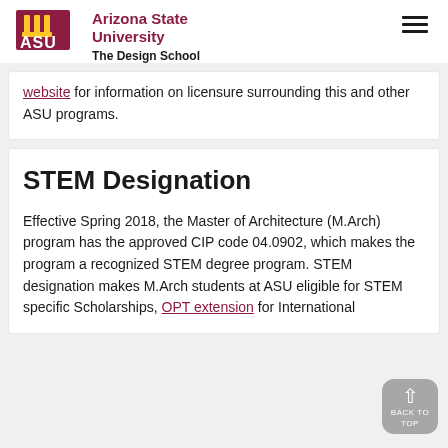Arizona State University — The Design School
website for information on licensure surrounding this and other ASU programs.
STEM Designation
Effective Spring 2018, the Master of Architecture (M.Arch) program has the approved CIP code 04.0902, which makes the program a recognized STEM degree program. STEM designation makes M.Arch students at ASU eligible for STEM specific Scholarships, OPT extension for International